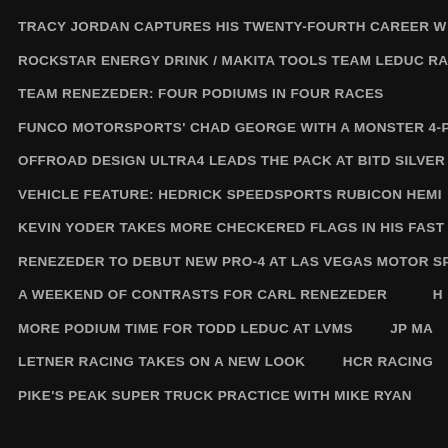TRACY JORDAN CAPTURES HIS TWENTY-FOURTH CAREER W
ROCKSTAR ENERGY DRINK / MAKITA TOOLS TEAM LEDUC RA
TEAM RENEZEDER: FOUR PODIUMS IN FOUR RACES
FUNCO MOTORSPORTS' CHAD GEORGE WITH A MONSTER 4-P
OFFROAD DESIGN ULTRA4 LEADS THE PACK AT BITD SILVER
VEHICLE FEATURE: HEDRICK SPEEDSPORTS RUBICON HEMI
KEVIN YODER TAKES MORE CHECKERED FLAGS IN HIS FAST
RENEZEDER TO DEBUT NEW PRO-4 AT LAS VEGAS MOTOR SP
A WEEKEND OF CONTRASTS FOR CARL RENEZEDER         H
MORE PODIUM TIME FOR TODD LEDUC AT LVMS         JP MA
LETNER RACING TAKES ON A NEW LOOK         HCR RACING
PIKE'S PEAK SUPER TRUCK PRACTICE WITH MIKE RYAN